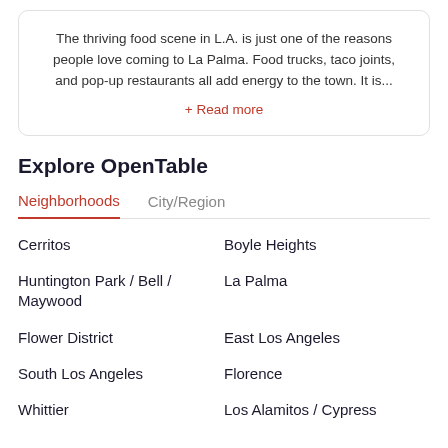The thriving food scene in L.A. is just one of the reasons people love coming to La Palma. Food trucks, taco joints, and pop-up restaurants all add energy to the town. It is...
+ Read more
Explore OpenTable
Neighborhoods  City/Region
Cerritos
Boyle Heights
Huntington Park / Bell / Maywood
La Palma
Flower District
East Los Angeles
South Los Angeles
Florence
Whittier
Los Alamitos / Cypress